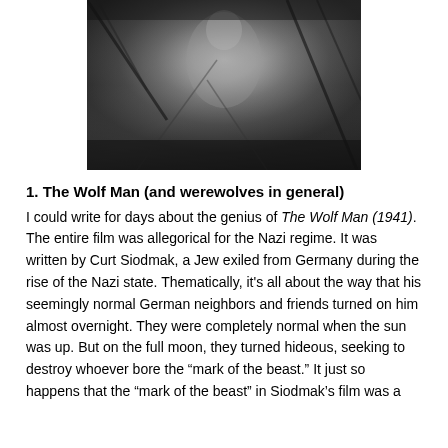[Figure (photo): Black and white photograph of a person, partially visible, with foliage or branches in the foreground and background]
1. The Wolf Man (and werewolves in general)
I could write for days about the genius of The Wolf Man (1941). The entire film was allegorical for the Nazi regime. It was written by Curt Siodmak, a Jew exiled from Germany during the rise of the Nazi state. Thematically, it's all about the way that his seemingly normal German neighbors and friends turned on him almost overnight. They were completely normal when the sun was up. But on the full moon, they turned hideous, seeking to destroy whoever bore the “mark of the beast.” It just so happens that the “mark of the beast” in Siodmak’s film was a